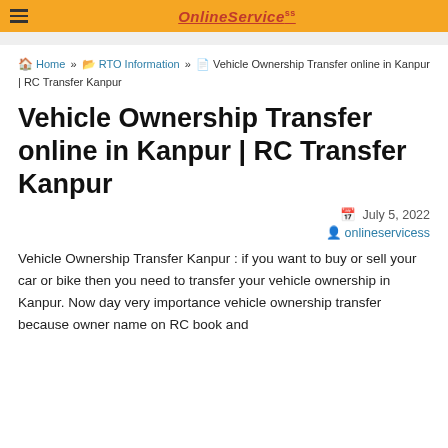OnlineServicess
Home » RTO Information » Vehicle Ownership Transfer online in Kanpur | RC Transfer Kanpur
Vehicle Ownership Transfer online in Kanpur | RC Transfer Kanpur
July 5, 2022
onlineservicess
Vehicle Ownership Transfer Kanpur : if you want to buy or sell your car or bike then you need to transfer your vehicle ownership in Kanpur. Now day very importance vehicle ownership transfer because owner name on RC book and